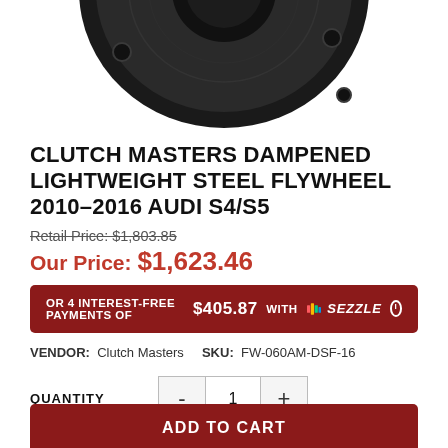[Figure (photo): Bottom view of a black steel flywheel with mounting holes, partially cropped at top]
CLUTCH MASTERS DAMPENED LIGHTWEIGHT STEEL FLYWHEEL 2010–2016 AUDI S4/S5
Retail Price: $1,803.85
Our Price: $1,623.46
OR 4 INTEREST-FREE PAYMENTS OF $405.87 WITH Sezzle ℹ
VENDOR: Clutch Masters   SKU: FW-060AM-DSF-16
QUANTITY  - 1 +
ADD TO CART